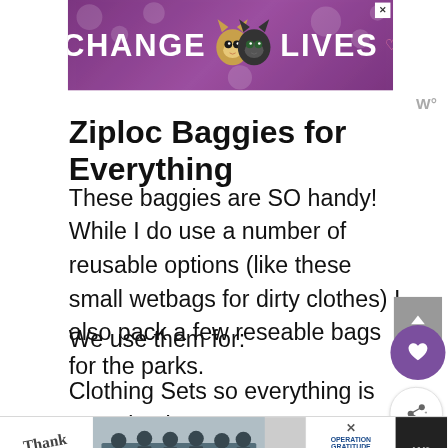[Figure (illustration): Purple advertisement banner with cats and text 'CHANGE LIVES' with a close X button]
Ziploc Baggies for Everything
These baggies are SO handy! While I do use a number of reusable options (like these small wetbags for dirty clothes) I also pack a few reseable bags for the parks.
We use them for:
Clothing Sets so everything is organized
[Figure (illustration): Bottom advertisement bar with 'Thank you' text, firefighters photo, and Operation Gratitude logo]